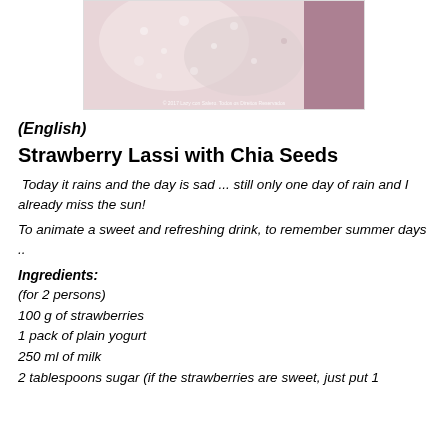[Figure (photo): A pink/white bubbly strawberry lassi drink in a glass, with a dark purplish background, and a small copyright watermark at the bottom right.]
(English)
Strawberry Lassi with Chia Seeds
Today it rains and the day is sad ... still only one day of rain and I already miss the sun!
To animate a sweet and refreshing drink, to remember summer days ..
Ingredients:
(for 2 persons)
100 g of strawberries
1 pack of plain yogurt
250 ml of milk
2 tablespoons sugar (if the strawberries are sweet, just put 1